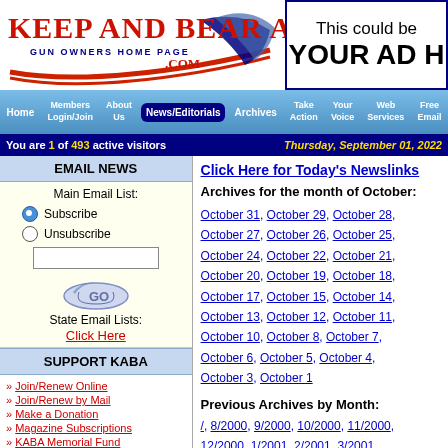[Figure (logo): Keep And Bear Arms - Gun Owners Home Page logo with red white and blue design]
[Figure (other): Advertisement placeholder: 'This could be YOUR AD H']
Home | Members Login/Join | About Us | News/Editorials | Archives | Take Action | Your Voice | Web Services | Free Email
You are 1 of 493 active visitors | Thursday, September 01, 2022
EMAIL NEWS
Main Email List:
Subscribe (selected)
Unsubscribe
State Email Lists: Click Here
SUPPORT KABA
Join/Renew Online
Join/Renew by Mail
Make a Donation
Magazine Subscriptions
KABA Memorial Fund
Advertise Here
Use KABA Free Email
Click Here for Today's Newslinks
Archives for the month of October:
October 31, October 29, October 28, October 27, October 26, October 25, October 24, October 22, October 21, October 20, October 19, October 18, October 17, October 15, October 14, October 13, October 12, October 11, October 10, October 8, October 7, October 6, October 5, October 4, October 3, October 1
Previous Archives by Month:
/, 8/2000, 9/2000, 10/2000, 11/2000, 12/2000, 1/2001, 2/2001, 3/2001, 4/2001, 5/2001, 6/2001, 7/2001, 8/2001, 9/2001, 10/2001, 11/2001,